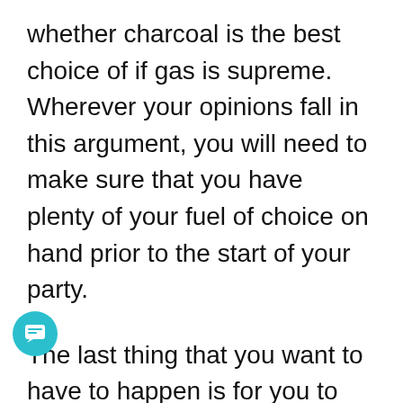whether charcoal is the best choice of if gas is supreme. Wherever your opinions fall in this argument, you will need to make sure that you have plenty of your fuel of choice on hand prior to the start of your party.
The last thing that you want to have to happen is for you to have your grill all preheated and ready only to actually ve used up the last of your fuel. In order to be safe, it is a good idea to